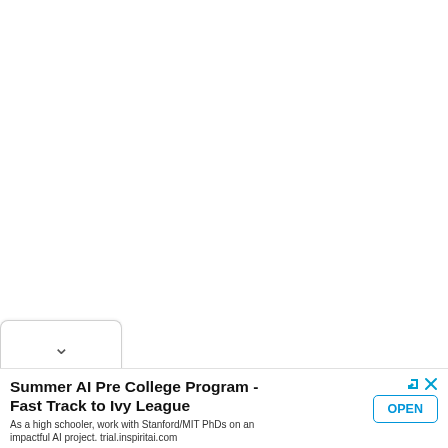[Figure (screenshot): A collapsed UI tab/drawer with a chevron/down-arrow icon, indicating expandable content above]
Summer AI Pre College Program - Fast Track to Ivy League
As a high schooler, work with Stanford/MIT PhDs on an impactful AI project. trial.inspiritai.com